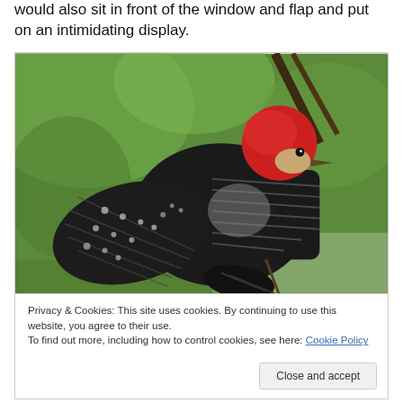would also sit in front of the window and flap and put on an intimidating display.
[Figure (photo): A red-bellied woodpecker with wings spread, clinging to a branch, showing black and white patterned wings and a red head, with green blurred background.]
Privacy & Cookies: This site uses cookies. By continuing to use this website, you agree to their use.
To find out more, including how to control cookies, see here: Cookie Policy
Close and accept